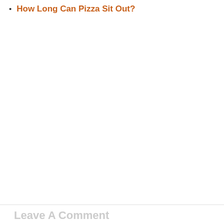How Long Can Pizza Sit Out?
Leave A Comment